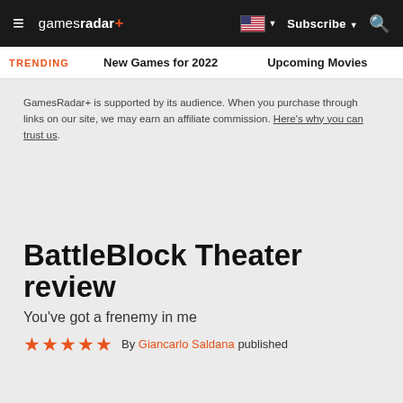gamesradar+ | Subscribe | Search
TRENDING   New Games for 2022   Upcoming Movies
GamesRadar+ is supported by its audience. When you purchase through links on our site, we may earn an affiliate commission. Here's why you can trust us.
BattleBlock Theater review
You've got a frenemy in me
By Giancarlo Saldana published